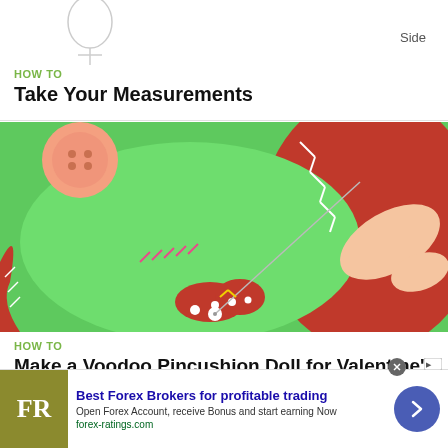[Figure (illustration): Partial sketch illustration of a body outline with 'Side' label, used for measurement guide]
HOW TO
Take Your Measurements
[Figure (photo): Close-up photo of hands sewing a green felt Voodoo Pincushion Doll with red embroidery, buttons, and a needle]
HOW TO
Make a Voodoo Pincushion Doll for Valentine's Day Angst
Best Forex Brokers for profitable trading
Open Forex Account, receive Bonus and start earning Now
forex-ratings.com